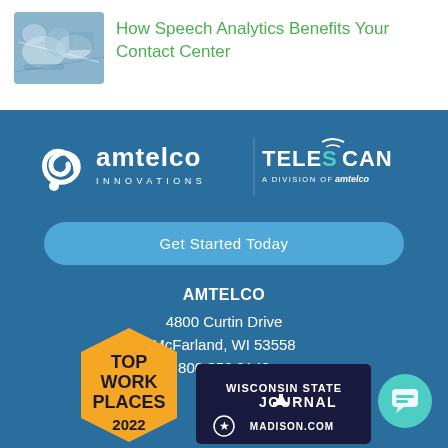[Figure (photo): Thumbnail image of hands working with technology/analytics interface]
How Speech Analytics Benefits Your Contact Center
[Figure (logo): AMTELCO Innovations and TELESCAN A Division of Amtelco logos in white on teal/blue background]
Get Started Today
AMTELCO
4800 Curtin Drive
McFarland, WI 53558
800.356.9148
[Figure (logo): Top Work Places 2022 badge in gold/yellow with hexagon shape]
[Figure (logo): Wisconsin State Journal Madison.com badge in dark navy]
[Figure (other): Teal circular chat button icon in bottom right corner]